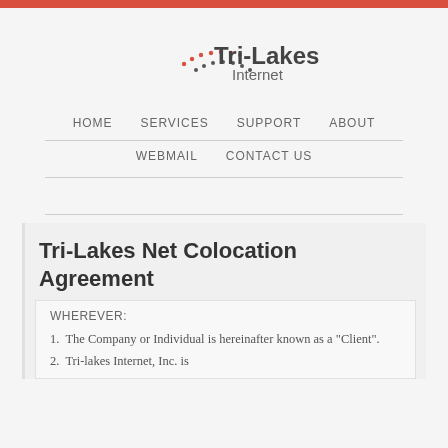[Figure (logo): Tri-Lakes Internet logo with dotted arc and company name]
HOME   SERVICES   SUPPORT   ABOUT   WEBMAIL   CONTACT US
Tri-Lakes Net Colocation Agreement
WHEREVER:
1. The Company or Individual is hereinafter known as a "Client".
2. Tri-lakes Internet, Inc. is